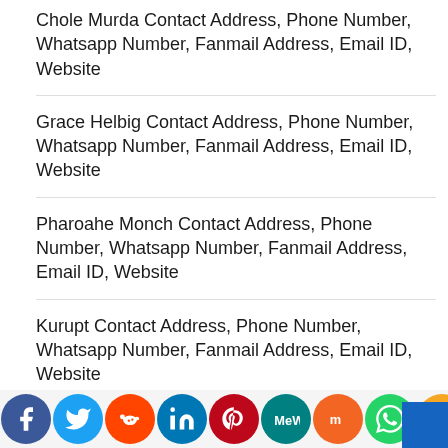Chole Murda Contact Address, Phone Number, Whatsapp Number, Fanmail Address, Email ID, Website
Grace Helbig Contact Address, Phone Number, Whatsapp Number, Fanmail Address, Email ID, Website
Pharoahe Monch Contact Address, Phone Number, Whatsapp Number, Fanmail Address, Email ID, Website
Kurupt Contact Address, Phone Number, Whatsapp Number, Fanmail Address, Email ID, Website
Sheek Louch Contact Address, Phone Number, Whatsapp Number, Fanmail Address, Email ID, Website